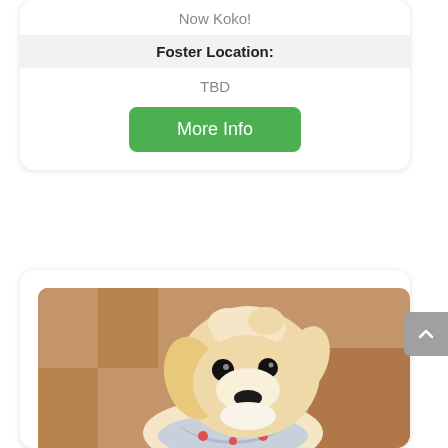Now Koko!
| Foster Location: |
| --- |
| TBD |
More Info
[Figure (photo): A fluffy cream/golden colored small dog wearing a grey bandana with red print, sitting in front of a wooden checkered background. The dog has long floppy ears and dark eyes.]